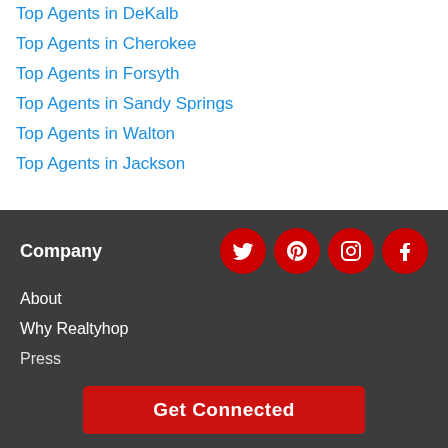Top Agents in DeKalb
Top Agents in Cherokee
Top Agents in Forsyth
Top Agents in Sandy Springs
Top Agents in Walton
Top Agents in Jackson
Company
About
Why Realtyhop
Press
Get Connected
6426 Outlook Court, Flowery Branch, GA 30542